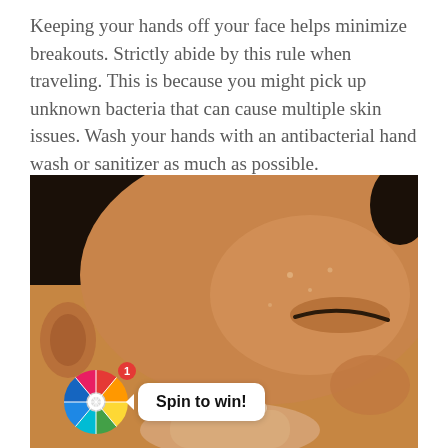Keeping your hands off your face helps minimize breakouts. Strictly abide by this rule when traveling. This is because you might pick up unknown bacteria that can cause multiple skin issues. Wash your hands with an antibacterial hand wash or sanitizer as much as possible.
[Figure (photo): Close-up photo of a woman with closed eyes touching her cheek with her fingers, showing glowing skin. A colorful spin-the-wheel widget with a speech bubble saying 'Spin to win!' overlays the bottom-left corner of the image.]